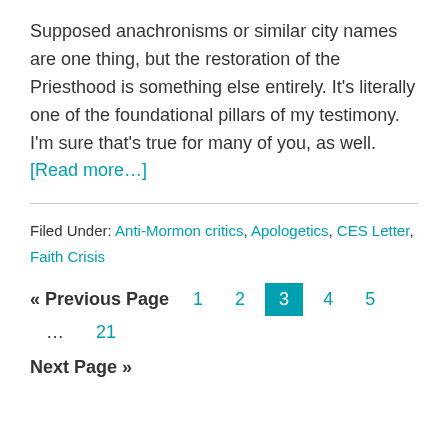Supposed anachronisms or similar city names are one thing, but the restoration of the Priesthood is something else entirely. It's literally one of the foundational pillars of my testimony. I'm sure that's true for many of you, as well. [Read more…]
Filed Under: Anti-Mormon critics, Apologetics, CES Letter, Faith Crisis
« Previous Page  1  2  3  4  5  …  21  Next Page »